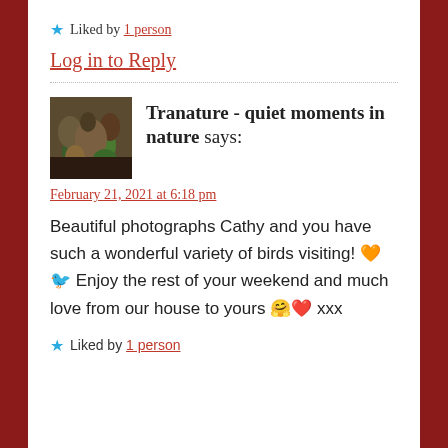★ Liked by 1 person
Log in to Reply
Tranature - quiet moments in nature says:
February 21, 2021 at 6:18 pm
Beautiful photographs Cathy and you have such a wonderful variety of birds visiting! 🧡🐦 Enjoy the rest of your weekend and much love from our house to yours 🤗❤️ xxx
★ Liked by 1 person